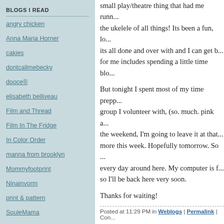BLOGS I READ
angry chicken
Anna Maria Horner
cakies
dontcallmebecky
dooce®
elisabeth belliveau
Film and Thread
Film In The Fridge
In Color Order
manna from brooklyn
Mommyfootprint
Ninainvorm
print & pattern
SouleMama
True Up
whip up
The simple fact of the matter is that I had a small play/theatre thing that had me running... the ukelele of all things! Its been a fun, lo... its all done and over with and I can get b... for me includes spending a little time blo...
But tonight I spent most of my time prepp... group I volunteer with, (so. much. pink a... the weekend, I'm going to leave it at tha... more this week. Hopefully tomorrow. So ... every day around here. My computer is f... so I'll be back here very soon.
Thanks for waiting!
Posted at 11:29 PM in Weblogs | Permalink | Con...
09/20/2012
bring on the zombies...
...because this little playmobile girl is rea...
[Figure (photo): Partial photo of a playmobile figure, warm beige/tan tones]